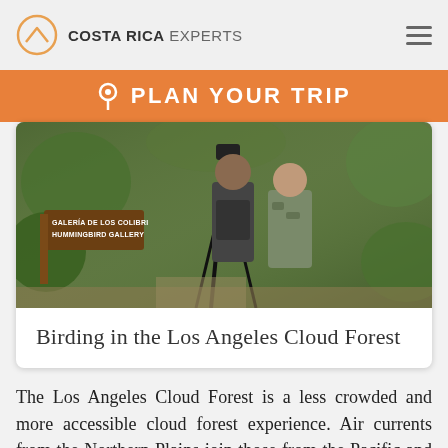COSTA RICA EXPERTS
PLAN YOUR TRIP
[Figure (photo): People birding with a camera on a tripod in the Los Angeles Cloud Forest, Costa Rica. A wooden sign reading 'Galeria de los Colibri / Hummingbird Gallery' is visible in the foreground among lush green vegetation.]
Birding in the Los Angeles Cloud Forest
The Los Angeles Cloud Forest is a less crowded and more accessible cloud forest experience. Air currents from the Northern Plains join those from the Pacific and Atlantic and fuse over the region, creating